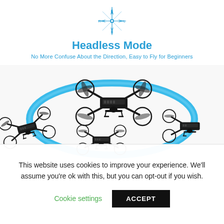[Figure (illustration): Blue compass rose icon with F, B, L, R cardinal labels in cyan/blue color]
Headless Mode
No More Confuse About the Direction, Easy to Fly for Beginners
[Figure (photo): Multiple black quadcopter drones shown in motion with a blue circular light ring indicating headless mode rotation; white background]
This website uses cookies to improve your experience. We'll assume you're ok with this, but you can opt-out if you wish.
Cookie settings
ACCEPT